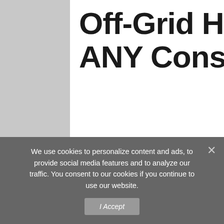Off-Grid Home Without ANY Construction Skills
Written by: Off The Grid Radio  Radio  11 Comments  🖨 Print This Article
We use cookies to personalize content and ads, to provide social media features and to analyze our traffic. You consent to our cookies if you continue to use our website.